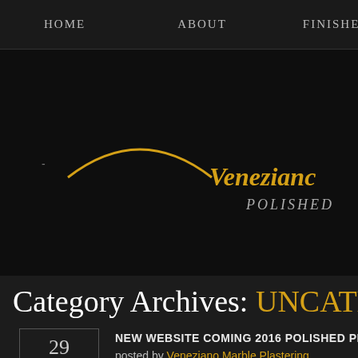HOME   ABOUT   FINISHES
[Figure (logo): Dark hero banner area with a partial golden arc/logo element on the left and italic golden text 'Veneziano' with grey italic 'POLISHED' text on the right side]
Category Archives: UNCATEGO
29 FRI  NEW WEBSITE COMING 2016 POLISHED PLASTER LO  posted by Veneziano Marble Plastering